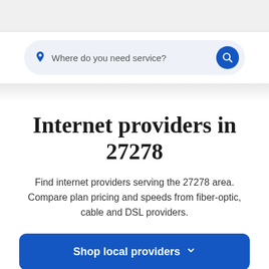[Figure (screenshot): Search bar with location pin icon and placeholder text 'Where do you need service?' with a blue circular search button]
Internet providers in 27278
Find internet providers serving the 27278 area. Compare plan pricing and speeds from fiber-optic, cable and DSL providers.
Shop local providers